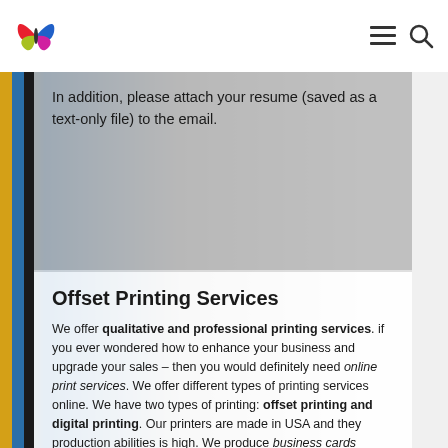In addition, please attach your resume (saved as a text-only file) to the email.
Offset Printing Services
We offer qualitative and professional printing services. if you ever wondered how to enhance your business and upgrade your sales – then you would definitely need online print services. We offer different types of printing services online. We have two types of printing: offset printing and digital printing. Our printers are made in USA and they production abilities is high. We produce business cards online, label printing notebooks, banners, paints and other printing products. Order from us and enjoy your qualitative printing products.